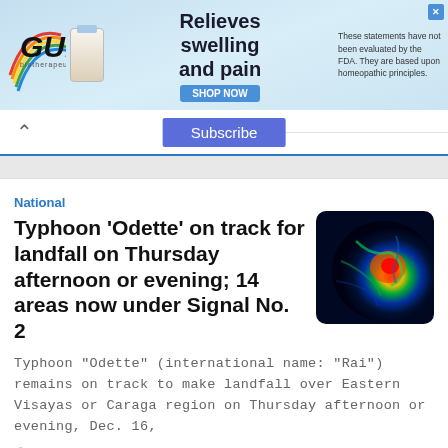[Figure (screenshot): GUNA biotherapeutics advertisement banner — logo, product image, 'Relieves swelling and pain' text, SHOP NOW button, FDA disclaimer text]
Subscribe
Typhoon 'Odette' on track for landfall on Thursday afternoon or evening; 14 areas now under Signal No. 2
[Figure (photo): Satellite radar image of Typhoon Odette showing storm spiral with bright red/orange center and green/blue outer bands on dark background]
Typhoon "Odette" (international name: "Rai") remains on track to make landfall over Eastern Visayas or Caraga region on Thursday afternoon or evening, Dec. 16,
8 MONTHS AGO
[Figure (screenshot): Wolfoo World Website advertisement banner with colorful Wolfoo logo]